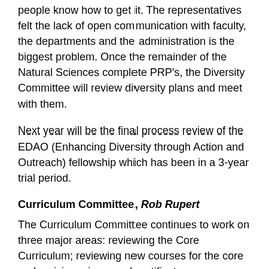people know how to get it. The representatives felt the lack of open communication with faculty, the departments and the administration is the biggest problem. Once the remainder of the Natural Sciences complete PRP’s, the Diversity Committee will review diversity plans and meet with them.
Next year will be the final process review of the EDAO (Enhancing Diversity through Action and Outreach) fellowship which has been in a 3-year trial period.
Curriculum Committee, Rob Rupert
The Curriculum Committee continues to work on three major areas: reviewing the Core Curriculum; reviewing new courses for the core and revising minors and certificate programs.
The Committee has also been discussing online courses and will continue those discussions in future years.